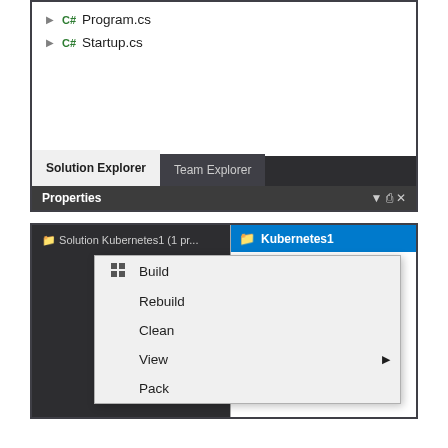[Figure (screenshot): Visual Studio Solution Explorer showing Program.cs and Startup.cs files, with Solution Explorer and Team Explorer tabs, and a Properties bar at the bottom]
[Figure (screenshot): Visual Studio context menu showing Build, Rebuild, Clean, View (with submenu arrow), Pack options. Right panel shows Kubernetes1 project selected with Connected Services, Dependencies, Properties, wwwroot items visible]